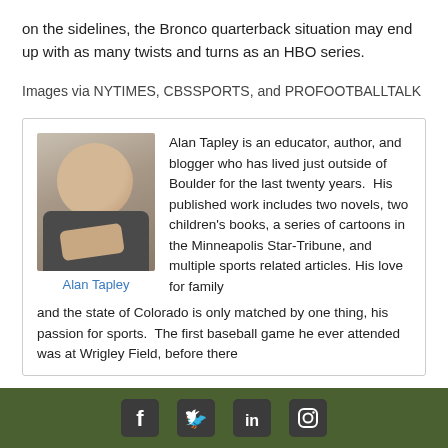on the sidelines, the Bronco quarterback situation may end up with as many twists and turns as an HBO series.
Images via NYTIMES, CBSSPORTS, and PROFOOTBALLTALK
[Figure (photo): Headshot photo of Alan Tapley with name caption below in blue text]
Alan Tapley is an educator, author, and blogger who has lived just outside of Boulder for the last twenty years.  His published work includes two novels, two children's books, a series of cartoons in the Minneapolis Star-Tribune, and multiple sports related articles. His love for family and the state of Colorado is only matched by one thing, his passion for sports.  The first baseball game he ever attended was at Wrigley Field, before there
Social media icons: Facebook, Twitter, LinkedIn, Instagram